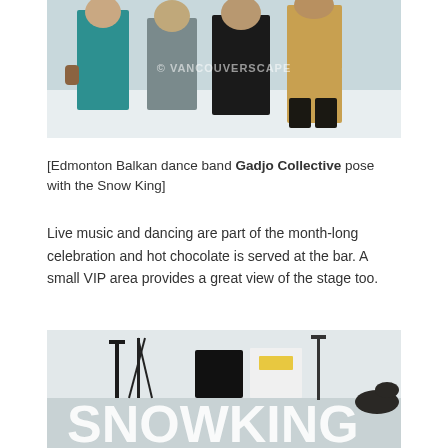[Figure (photo): Group of people in winter clothing posing outdoors in snowy setting, watermark reads VANCOUVERSCAPE]
[Edmonton Balkan dance band Gadjo Collective pose with the Snow King]
Live music and dancing are part of the month-long celebration and hot chocolate is served at the bar. A small VIP area provides a great view of the stage too.
[Figure (photo): Indoor snow stage area with microphone stands and speaker equipment, large snow wall with SNOW KING lettering carved into it]